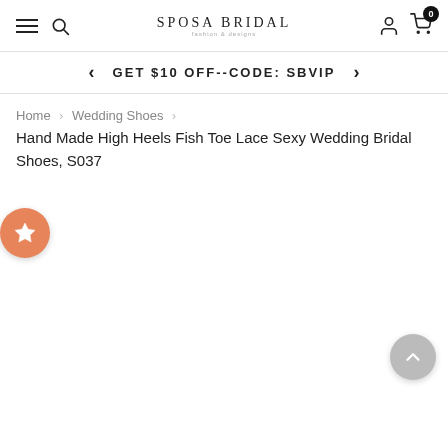SPOSA BRIDAL
GET $10 OFF--CODE: SBVIP
Home > Wedding Shoes > Hand Made High Heels Fish Toe Lace Sexy Wedding Bridal Shoes, S037